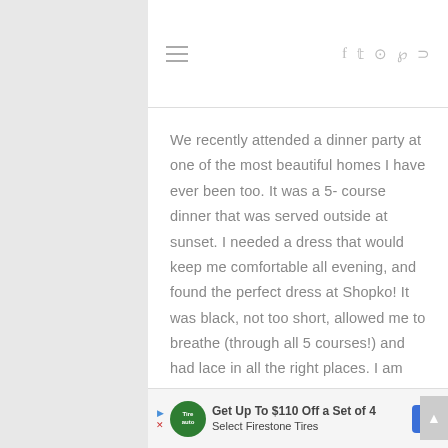≡  f  𝕥  ◎  ℗  ⊃
We recently attended a dinner party at one of the most beautiful homes I have ever been too. It was a 5- course dinner that was served outside at sunset. I needed a dress that would keep me comfortable all evening, and found the perfect dress at Shopko! It was black, not too short, allowed me to breathe (through all 5 courses!) and had lace in all the right places. I am finding that lace is a great way to add a touch of feminine but still provide breathable coverage.
Get Up To $110 Off a Set of 4 Select Firestone Tires